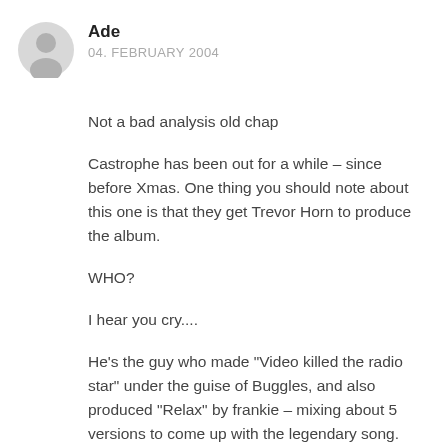[Figure (illustration): Grey circular avatar icon with a person silhouette]
Ade
04. FEBRUARY 2004
Not a bad analysis old chap
Castrophe has been out for a while – since before Xmas. One thing you should note about this one is that they get Trevor Horn to produce the album.
WHO?
I hear you cry....
He's the guy who made "Video killed the radio star" under the guise of Buggles, and also produced "Relax" by frankie – mixing about 5 versions to come up with the legendary song.